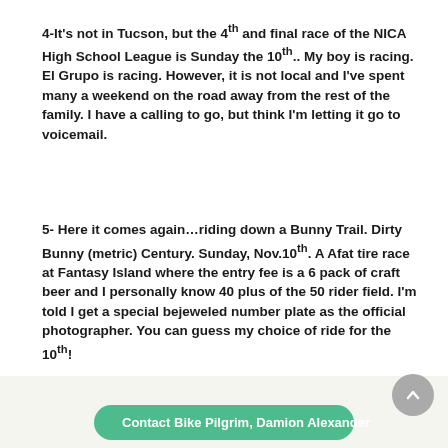4-It's not in Tucson, but the 4th and final race of the NICA High School League is Sunday the 10th..  My boy is racing.  El Grupo is racing.  However, it is not local and I've spent many a weekend on the road away from the rest of the family.  I have a calling to go, but think I'm letting it go to voicemail.
5- Here it comes again…riding down a Bunny Trail.  Dirty Bunny (metric) Century. Sunday, Nov.10th.  A Afat tire race at Fantasy Island where the entry fee is a 6 pack of craft beer and I personally know 40 plus of the 50 rider field.  I'm told I get a special bejeweled number plate as the official photographer.   You can guess my choice of ride for the 10th!
Leave a comment
Contact Bike Pilgrim, Damion Alexander